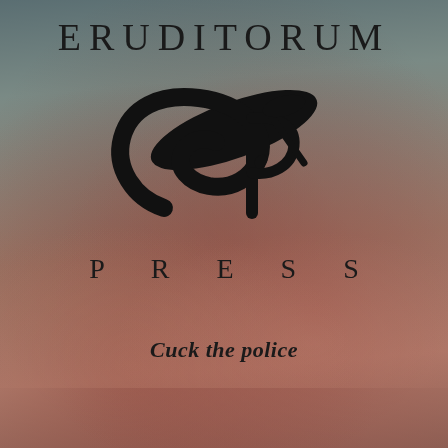[Figure (logo): Eruditorum Press logo page with decorative 'EP' calligraphic monogram over a muted background showing classical figures. Text reads ERUDITORUM at top, PRESS below the monogram, and 'Cuck the police' as a tagline.]
ERUDITORUM
PRESS
Cuck the police